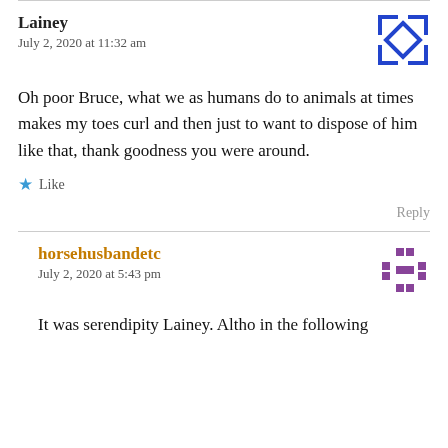Lainey
July 2, 2020 at 11:32 am
Oh poor Bruce, what we as humans do to animals at times makes my toes curl and then just to want to dispose of him like that, thank goodness you were around.
Like
Reply
horsehusbandetc
July 2, 2020 at 5:43 pm
It was serendipity Lainey. Altho in the following